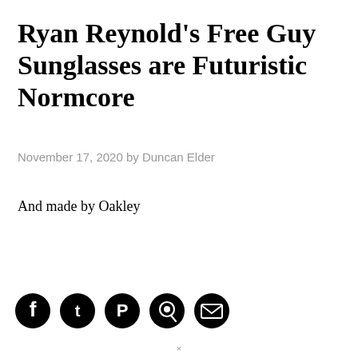Ryan Reynold's Free Guy Sunglasses are Futuristic Normcore
November 17, 2020 by Duncan Elder
And made by Oakley
[Figure (infographic): Row of five social share icon buttons: Facebook, Twitter, Pinterest, WhatsApp, Email]